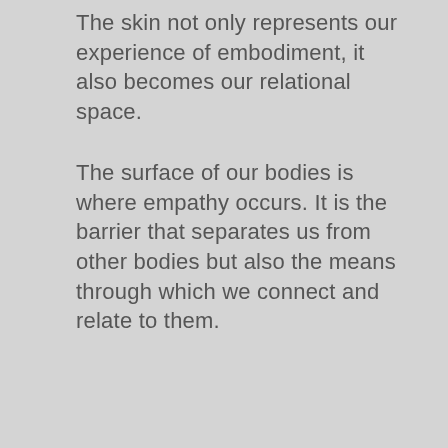The skin not only represents our experience of embodiment, it also becomes our relational space.
The surface of our bodies is where empathy occurs. It is the barrier that separates us from other bodies but also the means through which we connect and relate to them.